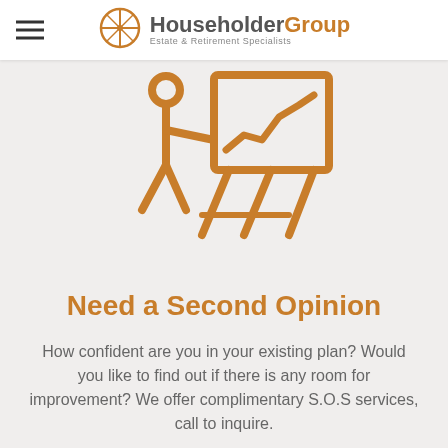Householder Group — Estate & Retirement Specialists
[Figure (illustration): Orange line-art icon of a person standing next to a presentation board/easel showing an upward trend chart]
Need a Second Opinion
How confident are you in your existing plan? Would you like to find out if there is any room for improvement? We offer complimentary S.O.S services, call to inquire.